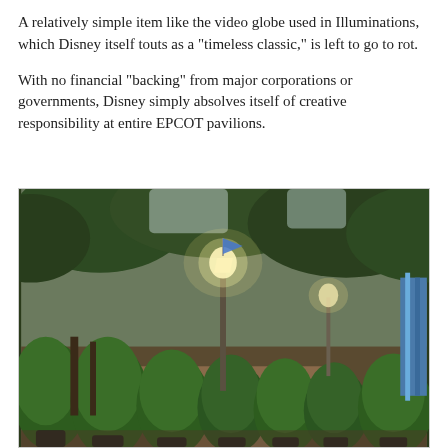A relatively simple item like the video globe used in Illuminations, which Disney itself touts as a "timeless classic," is left to go to rot.

With no financial "backing" from major corporations or governments, Disney simply absolves itself of creative responsibility at entire EPCOT pavilions.
[Figure (photo): Outdoor photo of a walkway lined with tall potted shrubs/trees, a glowing lamp post in the center background, large trees overhead, and a blue-lit structure visible at far right. Dusk or overcast lighting.]